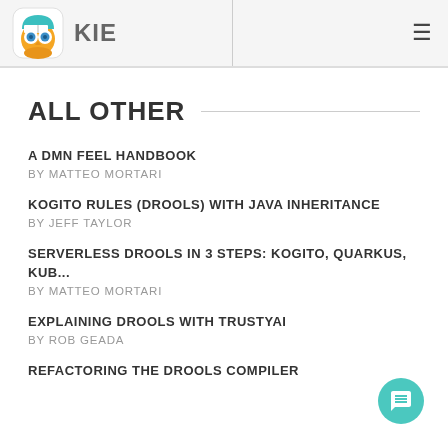KIE
ALL OTHER
A DMN FEEL HANDBOOK
BY MATTEO MORTARI
KOGITO RULES (DROOLS) WITH JAVA INHERITANCE
BY JEFF TAYLOR
SERVERLESS DROOLS IN 3 STEPS: KOGITO, QUARKUS, KUB...
BY MATTEO MORTARI
EXPLAINING DROOLS WITH TRUSTYAI
BY ROB GEADA
REFACTORING THE DROOLS COMPILER